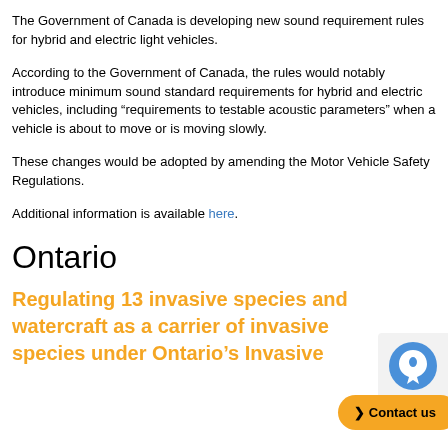The Government of Canada is developing new sound requirement rules for hybrid and electric light vehicles.
According to the Government of Canada, the rules would notably introduce minimum sound standard requirements for hybrid and electric vehicles, including “requirements to testable acoustic parameters” when a vehicle is about to move or is moving slowly.
These changes would be adopted by amending the Motor Vehicle Safety Regulations.
Additional information is available here.
Ontario
Regulating 13 invasive species and watercraft as a carrier of invasive species under Ontario’s Invasive